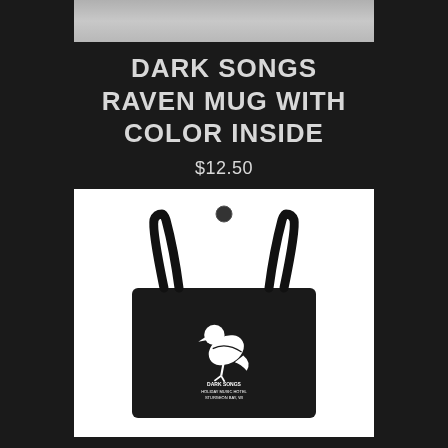[Figure (photo): Top portion of a product photo (mug) cropped at top of page]
DARK SONGS RAVEN MUG WITH COLOR INSIDE
$12.50
[Figure (photo): Dark Songs Large Organic Tote Bag — black tote bag with white raven silhouette and text printed on front, hanging handle shown]
DARK SONGS LARGE ORGANIC TOTE BAG